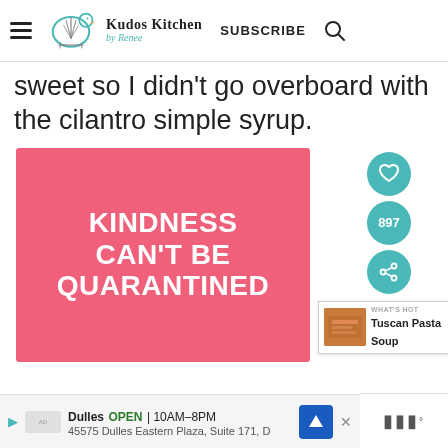Kudos Kitchen by Renee | SUBSCRIBE
sweet so I didn't go overboard with the cilantro simple syrup.
[Figure (infographic): Pink card with white bold text reading: KINDNESS CAN'T BE QUARANTINED]
897
WHAT'S HOT  Tuscan Pasta Soup
Dulles  OPEN  10AM–8PM  45575 Dulles Eastern Plaza, Suite 171, D